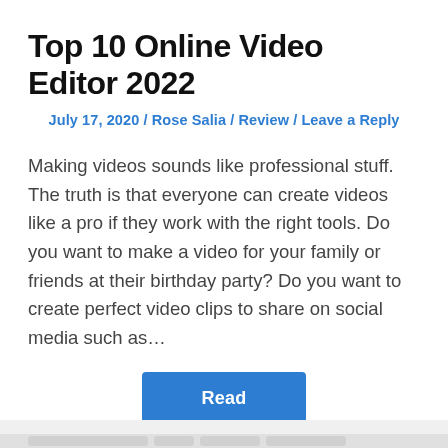Top 10 Online Video Editor 2022
July 17, 2020 / Rose Salia / Review / Leave a Reply
Making videos sounds like professional stuff. The truth is that everyone can create videos like a pro if they work with the right tools. Do you want to make a video for your family or friends at their birthday party? Do you want to create perfect video clips to share on social media such as…
Read